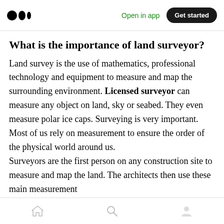Open in app | Get started
What is the importance of land surveyor?
Land survey is the use of mathematics, professional technology and equipment to measure and map the surrounding environment. Licensed surveyor can measure any object on land, sky or seabed. They even measure polar ice caps. Surveying is very important. Most of us rely on measurement to ensure the order of the physical world around us.
Surveyors are the first person on any construction site to measure and map the land. The architects then use these main measurement
Home | Search | Profile